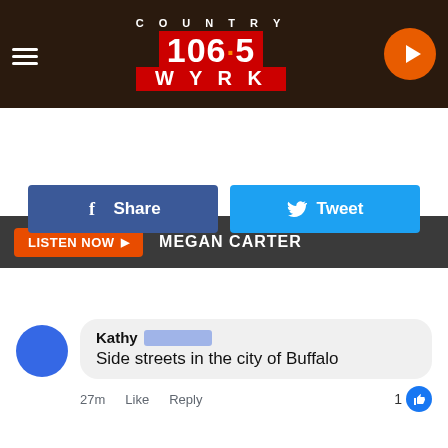[Figure (screenshot): Country 106.5 WYRK radio station header with hamburger menu, logo, and play button on dark brown background]
LISTEN NOW ▶  MEGAN CARTER
[Figure (screenshot): Facebook Share and Twitter Tweet social sharing buttons]
Gallery Credit: Kadie Daye, Public Facebook Thread
[Figure (screenshot): Facebook comment by Kathy (last name blurred): 'Side streets in the city of Buffalo' — 27m · Like · Reply · 1 like]